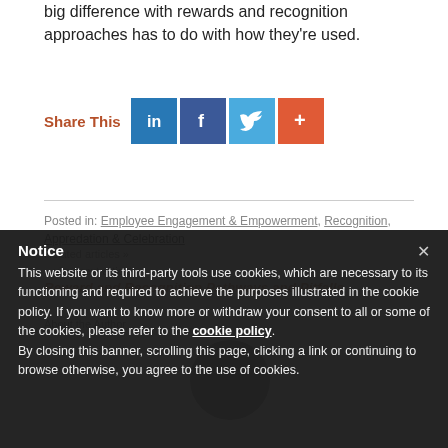big difference with rewards and recognition approaches has to do with how they're used.
[Figure (infographic): Share This section with social media icons: LinkedIn (blue), Facebook (dark blue), Twitter (light blue), and a plus/more button (orange-red)]
Posted in: Employee Engagement & Empowerment, Recognition, Appredation & Celebration
Related articles »
~ view next article ~
Reward and Recognition Pathways and Pitfalls
About the Author
Notice
This website or its third-party tools use cookies, which are necessary to its functioning and required to achieve the purposes illustrated in the cookie policy. If you want to know more or withdraw your consent to all or some of the cookies, please refer to the cookie policy.
By closing this banner, scrolling this page, clicking a link or continuing to browse otherwise, you agree to the use of cookies.